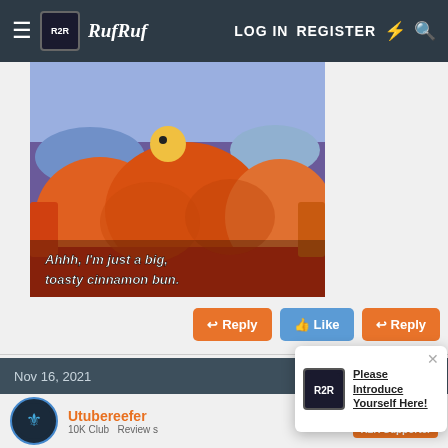≡  RufRuf  LOG IN  REGISTER  ⚡  🔍
[Figure (screenshot): Simpsons meme image: Homer Simpson lying under orange bed covers. Caption reads: Ahhh, I'm just a big, toasty cinnamon bun.]
Ahhh, I'm just a big, toasty cinnamon bun.
Reply  Like  Reply
Nov 16, 2021  #20
Utubereefer
10K Club  Review s
R2R Supporter
[Figure (logo): Reef2Reef logo icon]
Please Introduce Yourself Here!